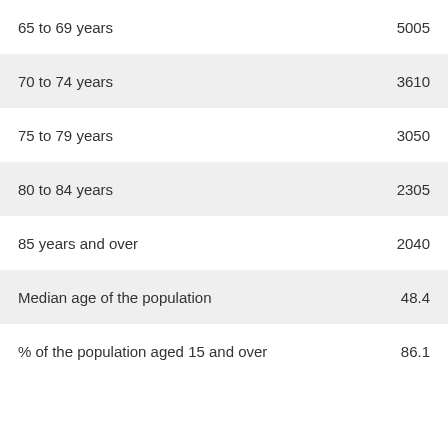| 65 to 69 years | 5005 |
| 70 to 74 years | 3610 |
| 75 to 79 years | 3050 |
| 80 to 84 years | 2305 |
| 85 years and over | 2040 |
| Median age of the population | 48.4 |
| % of the population aged 15 and over | 86.1 |